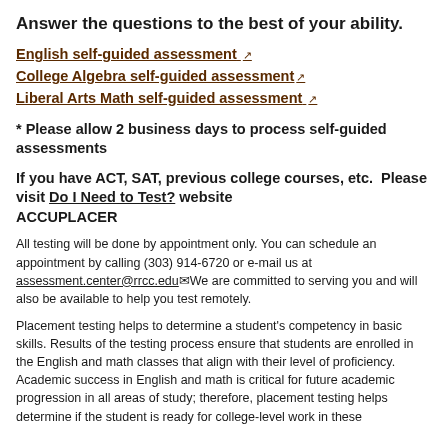Answer the questions to the best of your ability.
English self-guided assessment
College Algebra self-guided assessment
Liberal Arts Math self-guided assessment
* Please allow 2 business days to process self-guided assessments
If you have ACT, SAT, previous college courses, etc.  Please visit Do I Need to Test? website ACCUPLACER
All testing will be done by appointment only. You can schedule an appointment by calling (303) 914-6720 or e-mail us at assessment.center@rrcc.edu We are committed to serving you and will also be available to help you test remotely.
Placement testing helps to determine a student's competency in basic skills. Results of the testing process ensure that students are enrolled in the English and math classes that align with their level of proficiency. Academic success in English and math is critical for future academic progression in all areas of study; therefore, placement testing helps determine if the student is ready for college-level work in these...